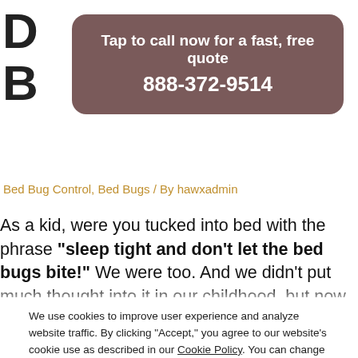[Figure (other): Call-to-action banner with text 'Tap to call now for a fast, free quote' and phone number '888-372-9514' on a brownish-mauve rounded rectangle background]
Bed Bug Control, Bed Bugs / By hawxadmin
As a kid, were you tucked into bed with the phrase “sleep tight and don’t let the bed bugs bite!” We were too. And we didn’t put much thought into it in our childhood, but now this is a thought
We use cookies to improve user experience and analyze website traffic. By clicking “Accept,” you agree to our website’s cookie use as described in our Cookie Policy. You can change your cookie settings at any time by clicking “Preferences.”
Decline
Accept
Preferences